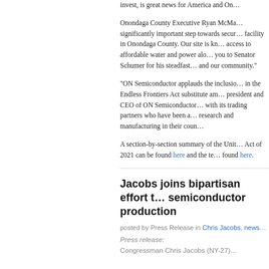invest, is great news for America and On...
Onondaga County Executive Ryan McMa... significantly important step towards secur... facility in Onondaga County. Our site is kn... access to affordable water and power alo... you to Senator Schumer for his steadfast ... and our community."
“ON Semiconductor applauds the inclusio... in the Endless Frontiers Act substitute am... president and CEO of ON Semiconductor... with its trading partners who have been a... research and manufacturing in their coun...
A section-by-section summary of the Unit... Act of 2021 can be found here and the te... found here.
Jacobs joins bipartisan effort t... semiconductor production
posted by Press Release in Chris Jacobs, news...
Press release:
Congressman Chris Jacobs (NY-27)...